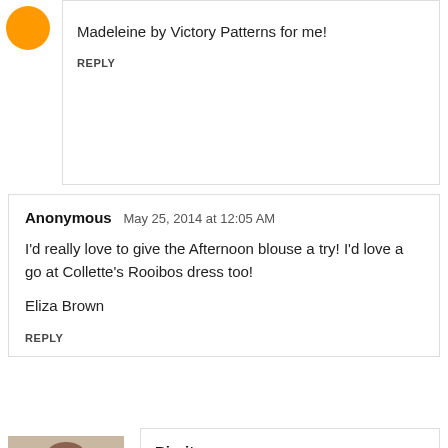Madeleine by Victory Patterns for me!
REPLY
Anonymous  May 25, 2014 at 12:05 AM
I'd really love to give the Afternoon blouse a try! I'd love a go at Collette's Rooibos dress too!

Eliza Brown
REPLY
[Figure (photo): Profile photo of Birgit, a woman in a striped top]
Birgit  May 25, 2014 at 1:30 AM
Wow that's a difficult one... I'm torn between the By Hand London Flora dress, and the Sewaholic Cambie... Two patterns I've been eyeing for a looooong time! But, as I can pick up Cambie at a local shop, I'll go for the Flora!
Thank you for hosting this giveaway!!